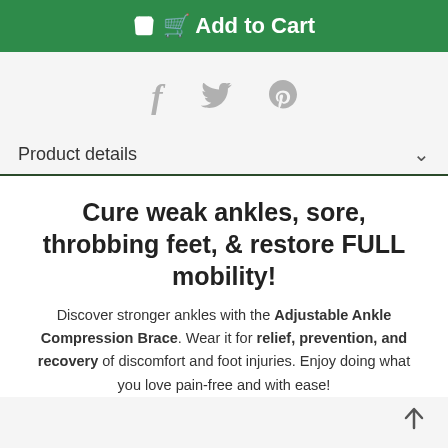Add to Cart
[Figure (infographic): Social sharing icons: Facebook (f), Twitter (bird), Pinterest (p)]
Product details
Cure weak ankles, sore, throbbing feet, & restore FULL mobility!
Discover stronger ankles with the Adjustable Ankle Compression Brace. Wear it for relief, prevention, and recovery of discomfort and foot injuries. Enjoy doing what you love pain-free and with ease!